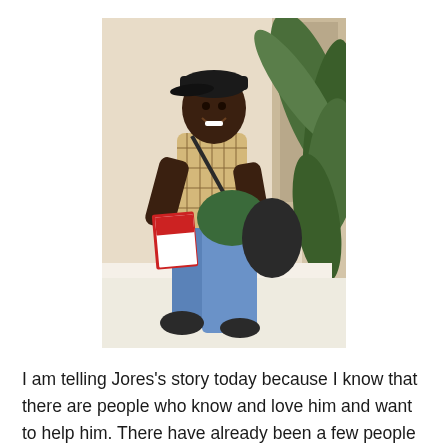[Figure (photo): A young man wearing a baseball cap and plaid shirt sits on a low wall outdoors, smiling at the camera. He holds a red and white pamphlet/book and has a green bag across his lap. Green tropical plants are visible behind him.]
I am telling Jores's story today because I know that there are people who know and love him and want to help him. There have already been a few people to express interest in helping him, so I know he will be fine. I just wanted to